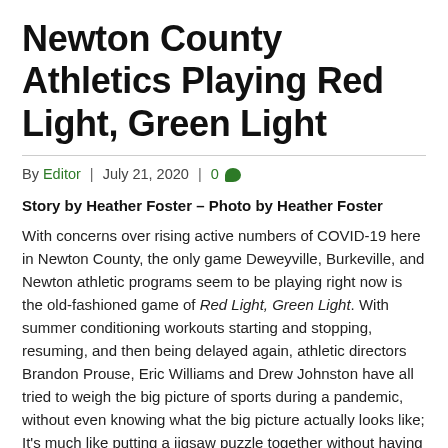Newton County Athletics Playing Red Light, Green Light
By Editor | July 21, 2020 | 0
Story by Heather Foster – Photo by Heather Foster
With concerns over rising active numbers of COVID-19 here in Newton County, the only game Deweyville, Burkeville, and Newton athletic programs seem to be playing right now is the old-fashioned game of Red Light, Green Light. With summer conditioning workouts starting and stopping, resuming, and then being delayed again, athletic directors Brandon Prouse, Eric Williams and Drew Johnston have all tried to weigh the big picture of sports during a pandemic, without even knowing what the big picture actually looks like; It's much like putting a jigsaw puzzle together without having an image to go by.